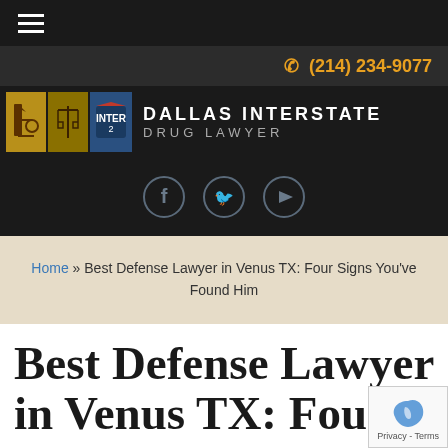☰ (hamburger menu)
✆ (214) 234-9077
[Figure (logo): Dallas Interstate Drug Lawyer logo with hammer/scales/interstate shield icons]
[Figure (infographic): Social media icons: Facebook, Twitter, YouTube — circular outlined buttons]
Home » Best Defense Lawyer in Venus TX: Four Signs You've Found Him
Best Defense Lawyer in Venus TX: Four Signs You've Found Him